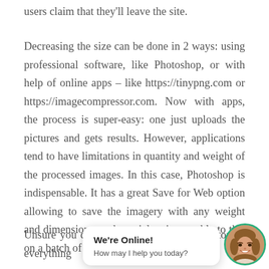users claim that they'll leave the site.
Decreasing the size can be done in 2 ways: using professional software, like Photoshop, or with help of online apps – like https://tinypng.com or https://imagecompressor.com. Now with apps, the process is super-easy: one just uploads the pictures and gets results. However, applications tend to have limitations in quantity and weight of the processed images. In this case, Photoshop is indispensable. It has a great Save for Web option allowing to save the imagery with any weight and dimensions, and special scripts enable to this on a batch of images at once.
Unsure you can do top of everything
[Figure (screenshot): Live chat widget popup in bottom-right corner showing 'We're Online! How may I help you today?' with a circular avatar photo of a smiling woman with a green border.]